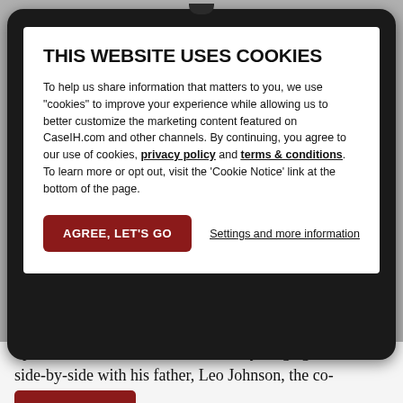[Figure (screenshot): Screenshot of a website cookie consent modal dialog overlaid on a tablet device. The modal contains a bold title 'THIS WEBSITE USES COOKIES', explanatory text about cookie usage on CaseIH.com, links to privacy policy and terms & conditions, an 'AGREE, LET'S GO' button in dark red, and a 'Settings and more information' link. Behind the modal, partially visible text reads about someone who grew up near Janesville, Wis., and worked side-by-side with his father, Leo Johnson, the co-principal of Johnson Tractor Inc.]
THIS WEBSITE USES COOKIES
To help us share information that matters to you, we use "cookies" to improve your experience while allowing us to better customize the marketing content featured on CaseIH.com and other channels. By continuing, you agree to our use of cookies, privacy policy and terms & conditions. To learn more or opt out, visit the 'Cookie Notice' link at the bottom of the page.
up near Janesville, Wis., and from a young age worked side-by-side with his father, Leo Johnson, the co-principal of Johnson Tractor Inc.